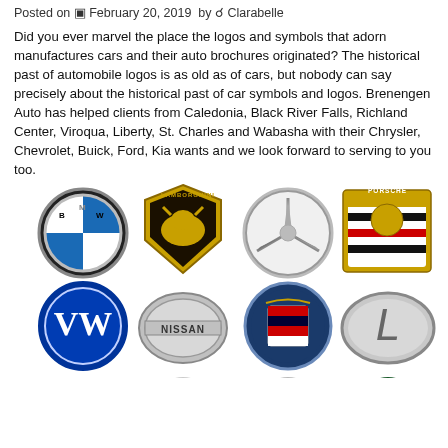Posted on  February 20, 2019  by  Clarabelle
Did you ever marvel the place the logos and symbols that adorn manufactures cars and their auto brochures originated? The historical past of automobile logos is as old as of cars, but nobody can say precisely about the historical past of car symbols and logos. Brenengen Auto has helped clients from Caledonia, Black River Falls, Richland Center, Viroqua, Liberty, St. Charles and Wabasha with their Chrysler, Chevrolet, Buick, Ford, Kia wants and we look forward to serving to you too.
[Figure (illustration): Grid of car brand logos: BMW, Lamborghini, Mercedes-Benz, Porsche (top row); Volkswagen, Nissan, Cadillac, Lexus (second row); Honda, unknown, unknown/Jaguar, Jaguar/Mini (partial third row)]